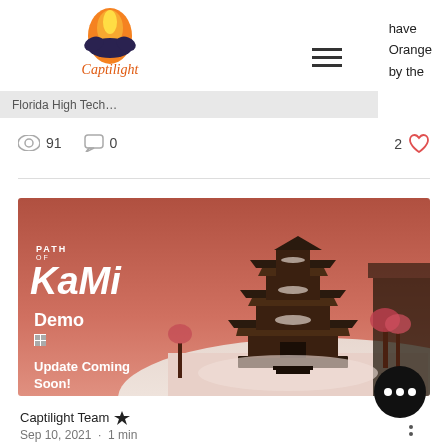[Figure (logo): Captilight logo with flame icon and stylized text]
have
Orange
by the
Florida High Tech…
91  0  2 ❤
[Figure (screenshot): Path of Kami game promotional image showing a Japanese pagoda in a snowy winter scene. Text reads: PATH OF KAMI, Demo, platform icons, Update Coming Soon!]
Captilight Team 👑
Sep 10, 2021  •  1 min